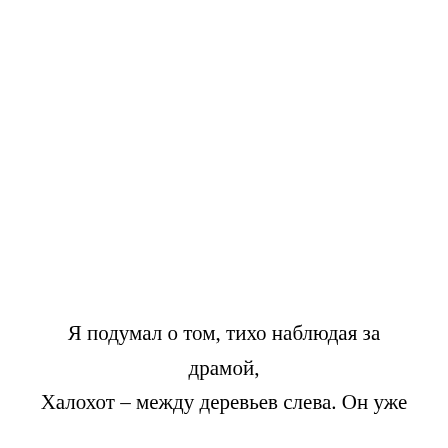Я подумал о том, тихо наблюдая за драмой, Халохот – между деревьев слева. Он уже